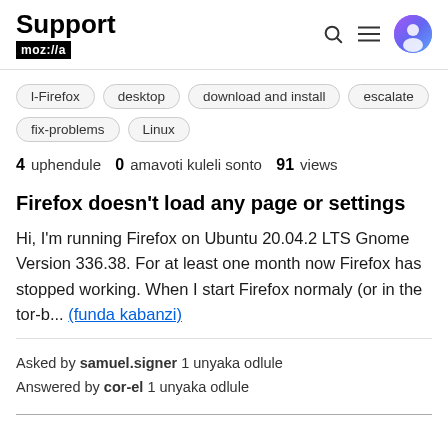Support moz://a
l-Firefox
desktop
download and install
escalate
fix-problems
Linux
4 uphendule  0 amavoti kuleli sonto  91 views
Firefox doesn't load any page or settings
Hi, I'm running Firefox on Ubuntu 20.04.2 LTS Gnome Version 336.38. For at least one month now Firefox has stopped working. When I start Firefox normaly (or in the tor-b... (funda kabanzi)
Asked by samuel.signer 1 unyaka odlule
Answered by cor-el 1 unyaka odlule